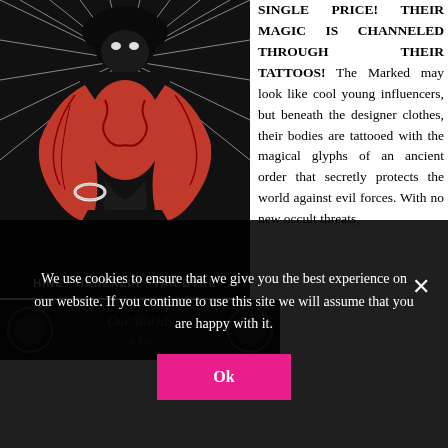[Figure (illustration): Book cover illustration showing a dark-skinned figure with red tattoos covering arms and chest, hands clasped, with radiating light behind, and text 'HINE · HABERLIN · VAN DYKE' at the bottom]
SINGLE PRICE! THEIR MAGIC IS CHANNELED THROUGH THEIR TATTOOS! The Marked may look like cool young influencers, but beneath the designer clothes, their bodies are tattooed with the magical glyphs of an ancient order that secretly protects the world against evil forces. With no new occult threats,
[Figure (screenshot): Partial view of another book cover at the bottom left, dark background]
We use cookies to ensure that we give you the best experience on our website. If you continue to use this site we will assume that you are happy with it.
Ok